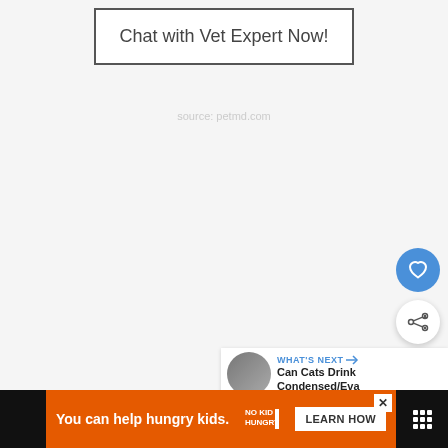[Figure (screenshot): A webpage UI showing a 'Chat with Vet Expert Now!' button at the top center, floating action buttons (heart/love and share), a 'What's Next' card showing 'Can Cats Drink Condensed/Eva...' with a thumbnail, and an advertisement banner at the bottom for No Kid Hungry.]
Chat with Vet Expert Now!
WHAT'S NEXT → Can Cats Drink Condensed/Eva
You can help hungry kids.
LEARN HOW